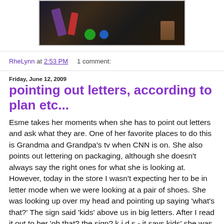[Figure (photo): A dark photo showing children's toys and a child in plaid on a floor]
RheLynn at 2:53 PM    1 comment:
Friday, June 12, 2009
pointing out letters, according to plan etc...
Esme takes her moments when she has to point out letters and ask what they are. One of her favorite places to do this is Grandma and Grandpa's tv when CNN is on. She also points out lettering on packaging, although she doesn't always say the right ones for what she is looking at. However, today in the store I wasn't expecting her to be in letter mode when we were looking at a pair of shoes. She was looking up over my head and pointing up saying 'what's that?' The sign said 'kids' above us in big letters. After I read it out to her 'oh that? the sign? k i d s - it says kids' she was